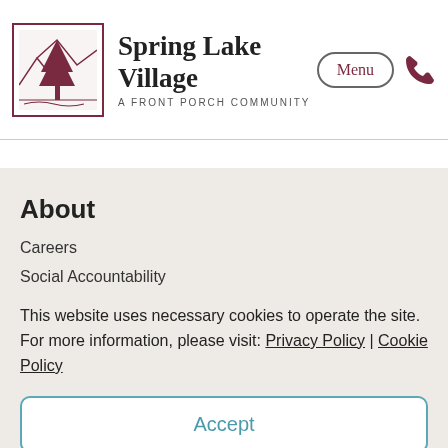Spring Lake Village — A FRONT PORCH COMMUNITY
About
Careers
Social Accountability
This website uses necessary cookies to operate the site. For more information, please visit: Privacy Policy | Cookie Policy
Accept